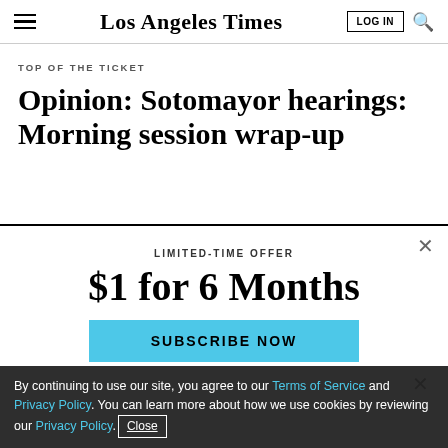Los Angeles Times
TOP OF THE TICKET
Opinion: Sotomayor hearings: Morning session wrap-up
LIMITED-TIME OFFER
$1 for 6 Months
SUBSCRIBE NOW
Season 3 of The Times' current podcast is here
By continuing to use our site, you agree to our Terms of Service and Privacy Policy. You can learn more about how we use cookies by reviewing our Privacy Policy. Close